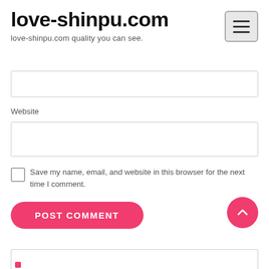love-shinpu.com
love-shinpu.com quality you can see.
Website
Save my name, email, and website in this browser for the next time I comment.
POST COMMENT